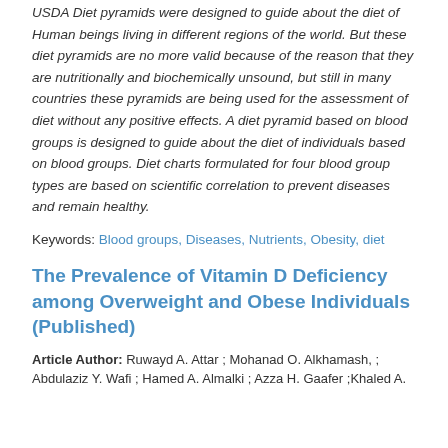USDA Diet pyramids were designed to guide about the diet of Human beings living in different regions of the world. But these diet pyramids are no more valid because of the reason that they are nutritionally and biochemically unsound, but still in many countries these pyramids are being used for the assessment of diet without any positive effects. A diet pyramid based on blood groups is designed to guide about the diet of individuals based on blood groups. Diet charts formulated for four blood group types are based on scientific correlation to prevent diseases and remain healthy.
Keywords: Blood groups, Diseases, Nutrients, Obesity, diet
The Prevalence of Vitamin D Deficiency among Overweight and Obese Individuals (Published)
Article Author: Ruwayd A. Attar ; Mohanad O. Alkhamash, ; Abdulaziz Y. Wafi ; Hamed A. Almalki ; Azza H. Gaafer ;Khaled A.